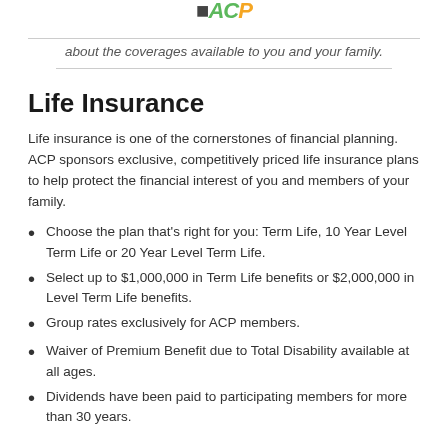about the coverages available to you and your family.
Life Insurance
Life insurance is one of the cornerstones of financial planning. ACP sponsors exclusive, competitively priced life insurance plans to help protect the financial interest of you and members of your family.
Choose the plan that's right for you: Term Life, 10 Year Level Term Life or 20 Year Level Term Life.
Select up to $1,000,000 in Term Life benefits or $2,000,000 in Level Term Life benefits.
Group rates exclusively for ACP members.
Waiver of Premium Benefit due to Total Disability available at all ages.
Dividends have been paid to participating members for more than 30 years.